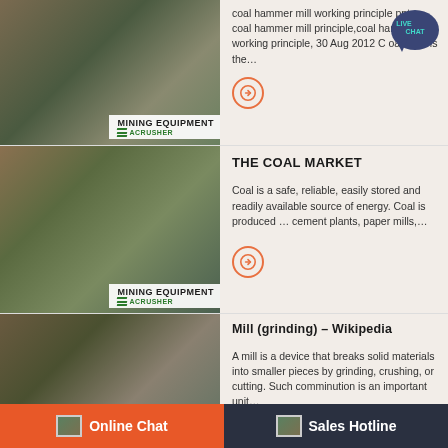[Figure (photo): Mining equipment crusher facility with conveyor belts and machinery, branded 'MINING EQUIPMENT ACRUSHER']
coal hammer mill working principle ppt – coal hammer mill principle,coal hammer mill working principle, 30 Aug 2012 C oal Coal is the…
[Figure (illustration): Live Chat speech bubble icon in teal/navy]
[Figure (photo): Mining equipment crusher facility with conveyor belts and machinery, branded 'MINING EQUIPMENT ACRUSHER']
THE COAL MARKET
Coal is a safe, reliable, easily stored and readily available source of energy. Coal is produced … cement plants, paper mills,…
[Figure (photo): Mining equipment crusher facility with conveyor belts and machinery, branded 'MINING EQUIPMENT ACRUSHER']
Mill (grinding) – Wikipedia
A mill is a device that breaks solid materials into smaller pieces by grinding, crushing, or cutting. Such comminution is an important unit…
Online Chat
Sales Hotline